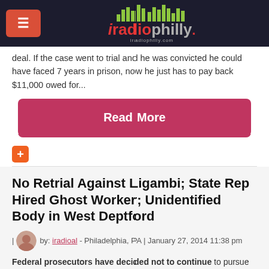iRadioPhilly
deal. If the case went to trial and he was convicted he could have faced 7 years in prison, now he just has to pay back $11,000 owed for...
Read More
No Retrial Against Ligambi; State Rep Hired Ghost Worker; Unidentified Body in West Deptford
| by: iradioal - Philadelphia, PA | January 27, 2014 11:38 pm
Federal prosecutors have decided not to continue to pursue the remaining racketeering and gambling charges against reputed